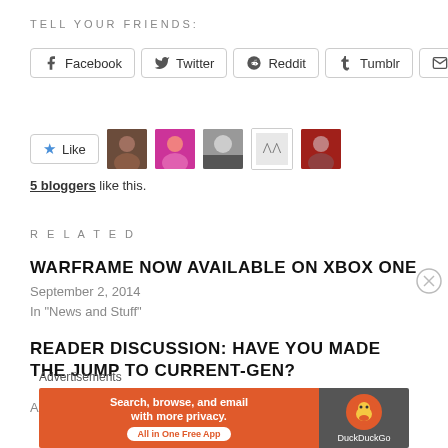TELL YOUR FRIENDS:
Facebook  Twitter  Reddit  Tumblr  Email
Like  [5 blogger avatars]
5 bloggers like this.
RELATED
WARFRAME NOW AVAILABLE ON XBOX ONE
September 2, 2014
In "News and Stuff"
READER DISCUSSION: HAVE YOU MADE THE JUMP TO CURRENT-GEN?
April 19, 2014
Advertisements
[Figure (infographic): DuckDuckGo advertisement banner: orange background with text 'Search, browse, and email with more privacy. All in One Free App' and DuckDuckGo logo on dark background]